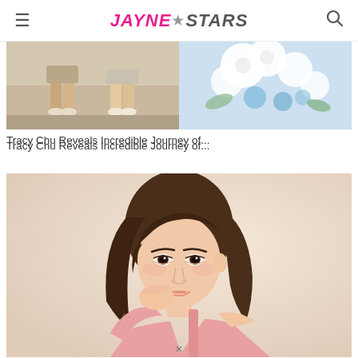Jayne Stars
[Figure (photo): Top split image: left side shows two people from legs down standing outdoors in casual clothing; right side shows white and blue flowers arrangement]
Tracy Chu Reveals Incredible Journey of...
[Figure (photo): Portrait photo of a young Asian woman with long brown hair, wearing a pink top, resting her chin on her hand and smiling at the camera against a light beige background]
×